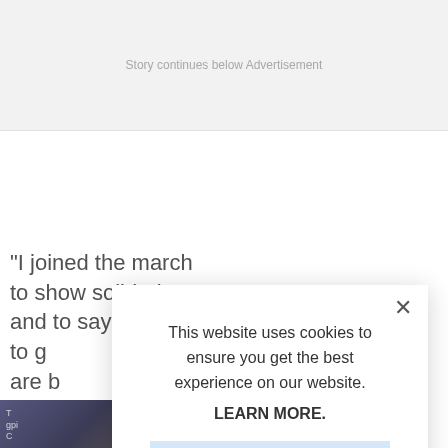Story continues below Advertisement
"I joined the march to show solidarity and to say no to g... are b...
[Figure (photo): Thumbnail image with text overlay, partially visible behind modal]
This website uses cookies to ensure you get the best experience on our website.
LEARN MORE.
ACCEPT COOKIES